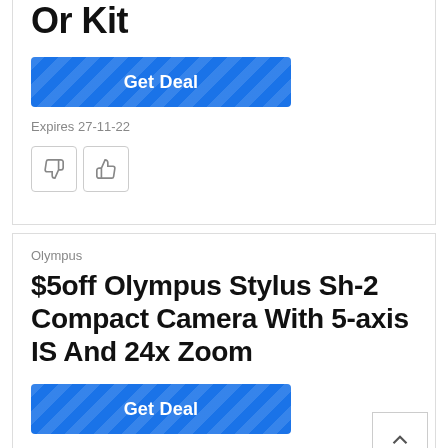Or Kit
Get Deal
Expires 27-11-22
Olympus
$5off Olympus Stylus Sh-2 Compact Camera With 5-axis IS And 24x Zoom
Get Deal
Expires 27-11-22
Olympus